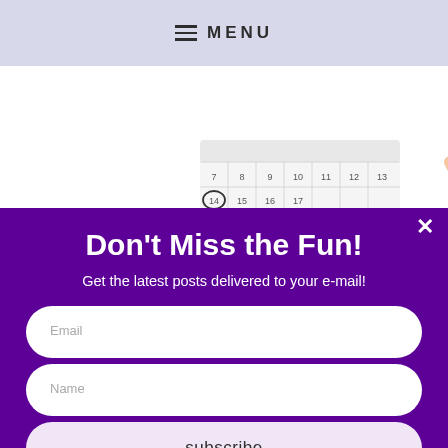MENU
[Figure (illustration): Illustration of a woman in a purple dress with hands raised behind her head, standing next to a calendar with the 14th circled]
Don't Miss the Fun!
Get the latest posts delivered to your e-mail!
Email
Name
subscribe